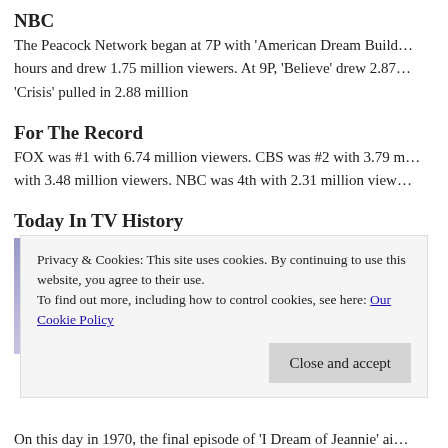NBC
The Peacock Network began at 7P with 'American Dream Build... hours and drew 1.75 million viewers. At 9P, 'Believe' drew 2.87... 'Crisis' pulled in 2.88 million
For The Record
FOX was #1 with 6.74 million viewers. CBS was #2 with 3.79 m... with 3.48 million viewers. NBC was 4th with 2.31 million view...
Today In TV History
[Figure (photo): Two people, a man and a woman wearing a pink veil/headwear, posed against a lavender-purple background]
Privacy & Cookies: This site uses cookies. By continuing to use this website, you agree to their use.
To find out more, including how to control cookies, see here: Our Cookie Policy
On this day in 1970, the final episode of 'I Dream of Jeannie' ai...